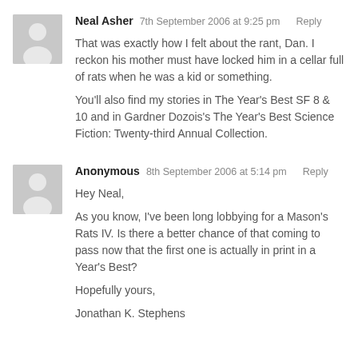Neal Asher
7th September 2006 at 9:25 pm    Reply
That was exactly how I felt about the rant, Dan. I reckon his mother must have locked him in a cellar full of rats when he was a kid or something.
You'll also find my stories in The Year's Best SF 8 & 10 and in Gardner Dozois's The Year's Best Science Fiction: Twenty-third Annual Collection.
Anonymous
8th September 2006 at 5:14 pm    Reply
Hey Neal,
As you know, I've been long lobbying for a Mason's Rats IV. Is there a better chance of that coming to pass now that the first one is actually in print in a Year's Best?
Hopefully yours,
Jonathan K. Stephens